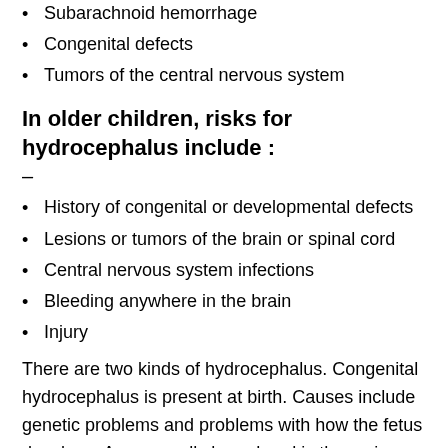Subarachnoid hemorrhage
Congenital defects
Tumors of the central nervous system
In older children, risks for hydrocephalus include :
–
History of congenital or developmental defects
Lesions or tumors of the brain or spinal cord
Central nervous system infections
Bleeding anywhere in the brain
Injury
There are two kinds of hydrocephalus. Congenital hydrocephalus is present at birth. Causes include genetic problems and problems with how the fetus develops. An unusually large head is the main sign of congenital hydrocephalus. Acquired hydrocephalus can occur at any age.